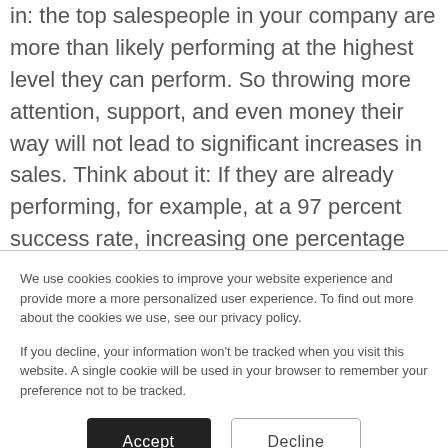in: the top salespeople in your company are more than likely performing at the highest level they can perform. So throwing more attention, support, and even money their way will not lead to significant increases in sales. Think about it: If they are already performing, for example, at a 97 percent success rate, increasing one percentage point
We use cookies cookies to improve your website experience and provide more a more personalized user experience. To find out more about the cookies we use, see our privacy policy.
If you decline, your information won't be tracked when you visit this website. A single cookie will be used in your browser to remember your preference not to be tracked.